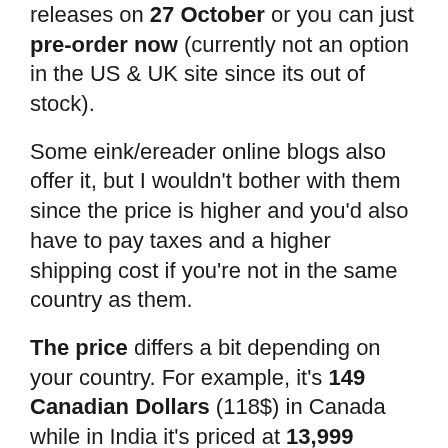releases on 27 October or you can just pre-order now (currently not an option in the US & UK site since its out of stock).
Some eink/ereader online blogs also offer it, but I wouldn't bother with them since the price is higher and you'd also have to pay taxes and a higher shipping cost if you're not in the same country as them.
The price differs a bit depending on your country. For example, it's 149 Canadian Dollars (118$) in Canada while in India it's priced at 13,999 rupees ($190) which is ironic considering the purchasing power of the two. Am guessing it has to do with taxes and other regulations.